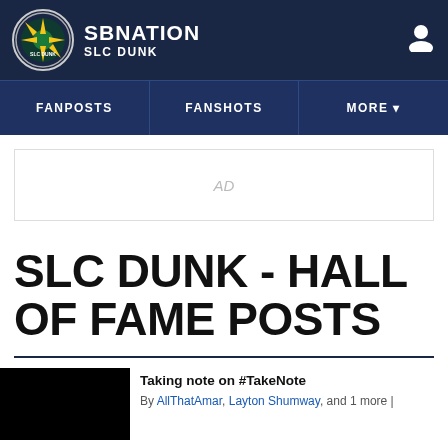SBNATION SLC DUNK
FANPOSTS | FANSHOTS | MORE
[Figure (other): AD placeholder banner]
SLC DUNK - HALL OF FAME POSTS
Taking note on #TakeNote
By AllThatAmar, Layton Shumway, and 1 more